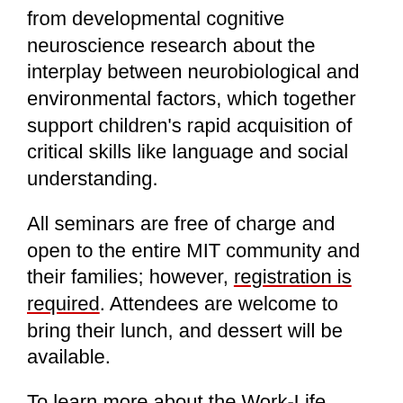from developmental cognitive neuroscience research about the interplay between neurobiological and environmental factors, which together support children's rapid acquisition of critical skills like language and social understanding.
All seminars are free of charge and open to the entire MIT community and their families; however, registration is required. Attendees are welcome to bring their lunch, and dessert will be available.
To learn more about the Work-Life Center's services, resources, and seminar series, visit the Work-Life Center website and follow @mitworklife on Twitter.